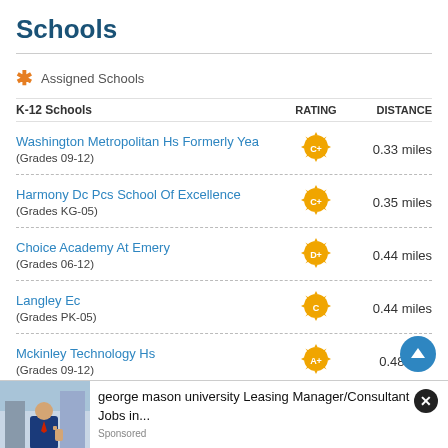Schools
* Assigned Schools
| K-12 Schools | RATING | DISTANCE |
| --- | --- | --- |
| Washington Metropolitan Hs Formerly Yea
(Grades 09-12) | C+ | 0.33 miles |
| Harmony Dc Pcs School Of Excellence
(Grades KG-05) | C+ | 0.35 miles |
| Choice Academy At Emery
(Grades 06-12) | D+ | 0.44 miles |
| Langley Ec
(Grades PK-05) | C | 0.44 miles |
| Mckinley Technology Hs
(Grades 09-12) | A+ | 0.48 miles |
View All W...
[Figure (screenshot): Advertisement banner: george mason university Leasing Manager/Consultant Jobs in... Sponsored]